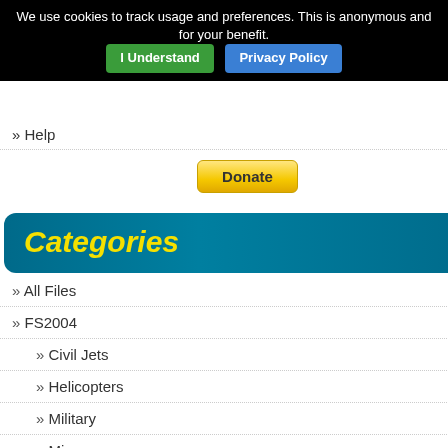We use cookies to track usage and preferences. This is anonymous and for your benefit. I Understand  Privacy Policy
» Help
[Figure (other): PayPal Donate button]
Categories
» All Files
» FS2004
» Civil Jets
» Helicopters
» Military
» Misc
» Panels
» Payware
» Props
» Scenery
[Figure (photo): Satellite map image showing coastal terrain with annotations]
Posted Jun 2...
FS2004, EGB...
Zip file preview... 0.16Mb (970...
FS2004, EGB... which has be... Terrain, so the...
Posted Jun 2...
FS2004 Malta...
[Figure (photo): Screenshot of FS2004 airfield with taxiway and terminal view]
Zip file preview... 33.69Mb (412...
FS2004 Malt... airfield + taxi... taxiway mark... MIA terminal,... C/tower, Wx...